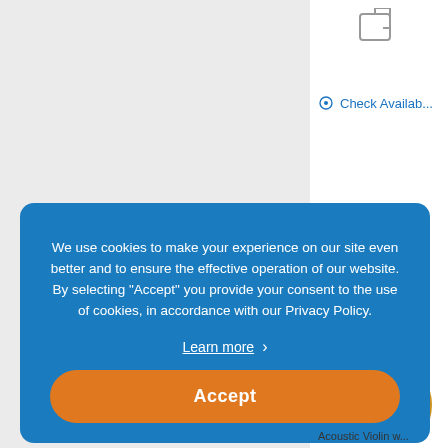[Figure (screenshot): Top-right area showing a return/share icon in gray outline]
Check Availab...
Up to 6 Instalments
[Figure (photo): Acoustic violin product photo, golden-brown color]
We use cookies to make your experience on our site even better and to ensure the effective operation of our website. By selecting "Accept" you provide your consent to the use of cookies, in accordance with our Privacy Policy.
Learn more
Accept
Acoustic Violin w...